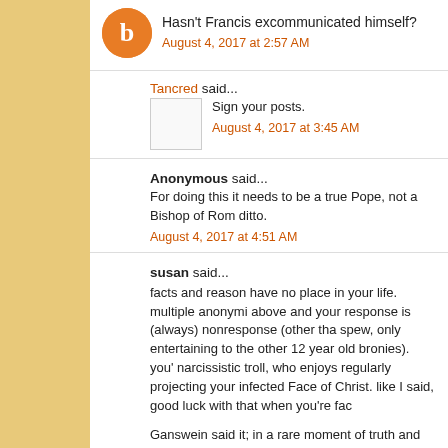Hasn't Francis excommunicated himself?
August 4, 2017 at 2:57 AM
Tancred said...
Sign your posts.
August 4, 2017 at 3:45 AM
Anonymous said...
For doing this it needs to be a true Pope, not a Bishop of Rom... ditto.
August 4, 2017 at 4:51 AM
susan said...
facts and reason have no place in your life. multiple anonymi... above and your response is (always) nonresponse (other tha... spew, only entertaining to the other 12 year old bronies). you'... narcissistic troll, who enjoys regularly projecting your infected... Face of Christ. like I said, good luck with that when you're fac...
Ganswein said it; in a rare moment of truth and candor...and... you want to erase it, you can't, like every other piece of fact...